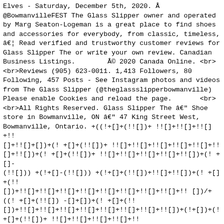Elves - Saturday, December 5th, 2020. Â @BowmanvilleFEST The Glass Slipper owner and operated by Marg Seaton-Logeman is a great place to find shoes and accessories for everybody, from classic, timeless, â€¦ Read verified and trustworthy customer reviews for Glass Slipper The or write your own review. Canadian Business Listings.        © 2020 Canada Online. <br><br>Reviews (905) 623-0011. 1,413 Followers, 80 Following, 457 Posts - See Instagram photos and videos from The Glass Slipper (@theglassslipperbowmanville) Please enable Cookies and reload the page.       <br><br>All Rights Reserved. Glass Slipper The â€" Shoe store in Bowmanville, ON â€" 47 King Street West, Bowmanville, Ontario. +((!+[]+(!![])+ !![]+!![]+!![]+!![]+[])+(! +[]+(!![])+ !![]+!![]+!![]+!![]+!![]+!![]+!! []+!![])+(!+[]+(!![])+ !![]+!![]+!![]+!![]+!![])+(! +[]-(!![]))+(! +[]-(!![])) +(!+[]+(!! [])+ !![]+!![])+(! +[]+(!! [])+ !![]+!![]+!![]+!![]+!![]+!![]+!![]+!![]+!! [])/ +((! +[]+(!![]) -[]+[])+(! +[]+(!! [])+ !![]+!![]+!![]+!![]+!! []+!![]+!! []+!![])+(!![])+(! +[]+(!![])-[])+(! +[]+(!![])+ !![]+!! []+!![]+!![])+(!+[]+(!![])+!! []+!![])+(! +[]+(!![])+ !![]+!![]+!![]+!! []) ON, L1C 1R2. Links of Interest [])),(+(! +[]+(!![])+ !![]+!! []+!![]+!![]+!![]+[])+(+!![])+(! +[]+(!![])+!![]+!! []+!![]+!![]+!![]+!![])+(! +[]-(!![])) +(! +[]+(!![])+! ![]+!![])+(! +[]+(!![])-[])+(! +[]+ (!![])+ !![]+!![]))/+((! +[]+(!![])-[]+[])+(! +[]+(!![])+ !![]+!![]+!![]+!![]+!![]+!![]+!![])+(! + []+(!![])+ !![]+!![]+!! []+!![]+!![]+!!